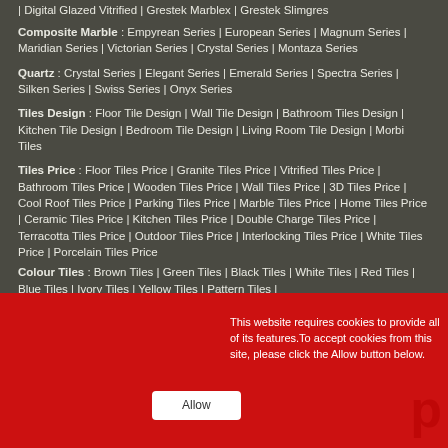Digital Glazed Vitrified | Grestek Marblex | Grestek Slimgres
Composite Marble : Empyrean Series | European Series | Magnum Series | Maridian Series | Victorian Series | Crystal Series | Montaza Series
Quartz : Crystal Series | Elegant Series | Emerald Series | Spectra Series | Silken Series | Swiss Series | Onyx Series
Tiles Design : Floor Tile Design | Wall Tile Design | Bathroom Tiles Design | Kitchen Tile Design | Bedroom Tile Design | Living Room Tile Design | Morbi Tiles
Tiles Price : Floor Tiles Price | Granite Tiles Price | Vitrified Tiles Price | Bathroom Tiles Price | Wooden Tiles Price | Wall Tiles Price | 3D Tiles Price | Cool Roof Tiles Price | Parking Tiles Price | Marble Tiles Price | Home Tiles Price | Ceramic Tiles Price | Kitchen Tiles Price | Double Charge Tiles Price | Terracotta Tiles Price | Outdoor Tiles Price | Interlocking Tiles Price | White Tiles Price | Porcelain Tiles Price
Colour Tiles : Brown Tiles | Green Tiles | Black Tiles | White Tiles | Red Tiles | Blue Tiles | Ivory Tiles | Yellow Tiles | Pattern Tiles |
This website requires cookies to provide all of its features.To accept cookies from this site, please click the Allow button below.